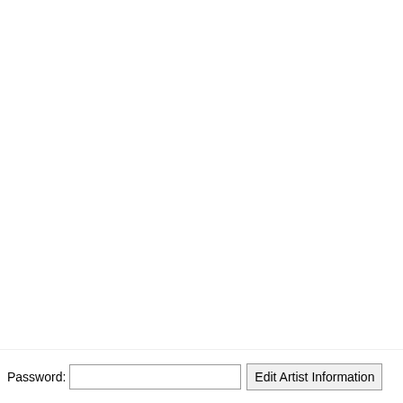Sonja van Z...
Alida Olwag...
Biggie Sam...
Danel Burge...
Find other:
Works > Art...
Works > Ca...
Works > Su...
Works > Ke...
Works > Ke...
Works > Ke...
Works > Ke...
Works > Ke...
Works > Ke...
Works > Ke...
Works > Ke...
Works > Ke...
Works > Ke...
Works > Ke...
Works > Ke...
Works > Ke...
Works > Ke...
Password:
Edit Artist Information